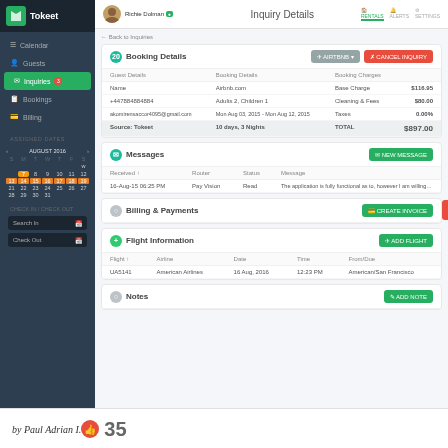[Figure (screenshot): Tokeet property management software interface showing Inquiry Details page with sidebar navigation, booking details table, messages section, billing & payments, flight information, and notes sections.]
by Paul Adrian I.
35